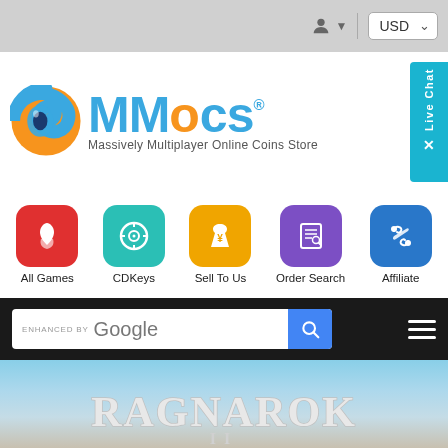[Figure (screenshot): Top navigation bar with user icon and USD currency dropdown on grey background]
[Figure (logo): MMOCS - Massively Multiplayer Online Coins Store logo with blue/orange swirl icon and blue text, with Live Chat button on right side]
[Figure (infographic): Navigation icons row: All Games (red, flame), CDKeys (teal, disc), Sell To Us (gold, money bag), Order Search (purple, search), Affiliate (blue, handshake)]
[Figure (screenshot): Search bar: ENHANCED BY Google with blue search button, and hamburger menu icon on black background]
[Figure (photo): Ragnarok II game banner showing stylized fantasy text logo on sky/cloud background]